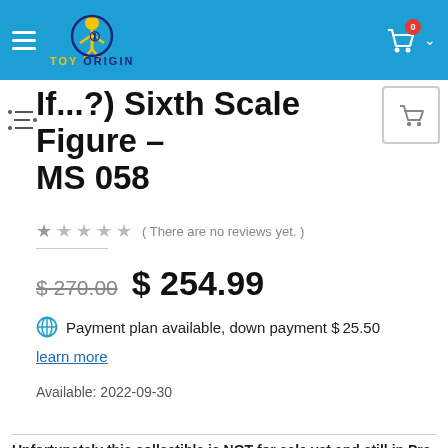[Figure (screenshot): Toy Origin website header with blue background, hamburger menu icon, Toy Origin logo (yellow figure with blue text), shopping cart icon with red badge showing 0, and chevron down arrow]
If...?) Sixth Scale Figure – MS 058
( There are no reviews yet. )
$270.00  $ 254.99
Payment plan available, down payment $25.50
learn more
Available: 2022-09-30
Unfortunately this collectible is NOT for sale yet and still in Pre-Order status!
To Pre-Order yours and make a reservation today you must pay